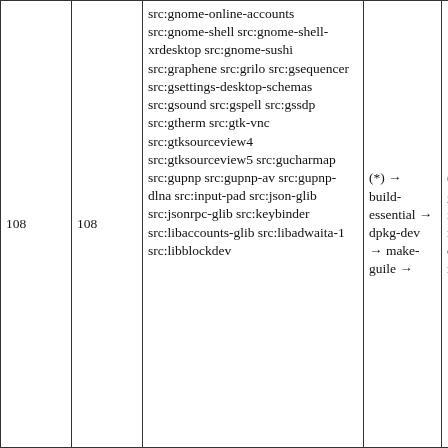| 108 | 108 | src:gnome-online-accounts src:gnome-shell src:gnome-shell-xrdesktop src:gnome-sushi src:graphene src:grilo src:gsequencer src:gsettings-desktop-schemas src:gsound src:gspell src:gssdp src:gtherm src:gtk-vnc src:gtksourceview4 src:gtksourceview5 src:gucharmap src:gupnp src:gupnp-av src:gupnp-dlna src:input-pad src:json-glib src:jsonrpc-glib src:keybinder src:libaccounts-glib src:libadwaita-1 src:libblockdev | (*) → build-essential → dpkg-dev → make-guile → | (*) → gobject-introspection → build-essential → make |